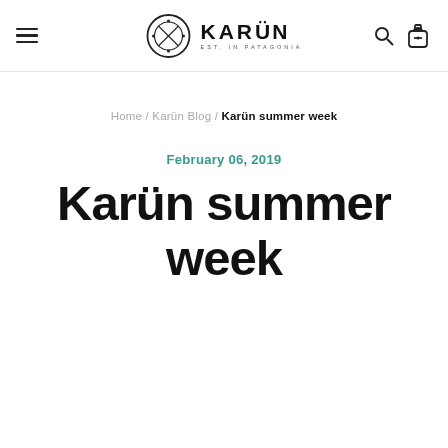Karün — EST. IN PATAGONIA (logo header with navigation icons)
Home / Karün Blog / Karün summer week
February 06, 2019
Karün summer week